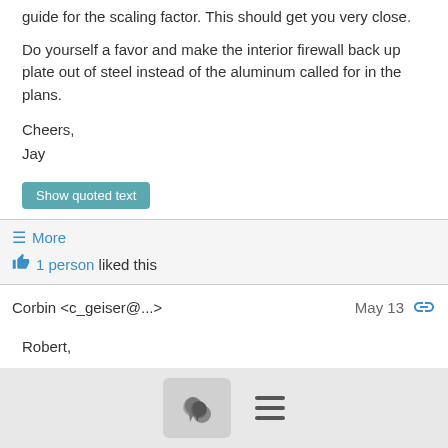guide for the scaling factor. This should get you very close.
Do yourself a favor and make the interior firewall back up plate out of steel instead of the aluminum called for in the plans.
Cheers,
Jay
Show quoted text
≡ More
👍 1 person liked this
Corbin <c_geiser@...>
May 13
Robert,
Does this help?  I stopped by the hangar this morning and remembered your text and this post.